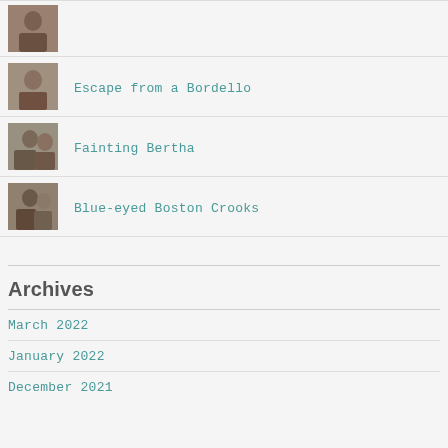[Figure (photo): Small sepia thumbnail photo of a person]
Escape from a Bordello
[Figure (photo): Small sepia thumbnail photo of a person]
Fainting Bertha
[Figure (photo): Small sepia thumbnail photo of a person]
Blue-eyed Boston Crooks
Archives
March 2022
January 2022
December 2021